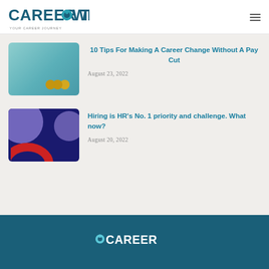[Figure (logo): Career Town logo in teal/navy text with circular icon replacing the O in TOWN]
[Figure (photo): Teal/blue background thumbnail image with gold coins at bottom right]
10 Tips For Making A Career Change Without A Pay Cut
August 23, 2022
[Figure (illustration): Dark navy background with purple circle and red arc illustration]
Hiring is HR’s No. 1 priority and challenge. What now?
August 20, 2022
[Figure (logo): Career Town footer logo in white on dark teal background]